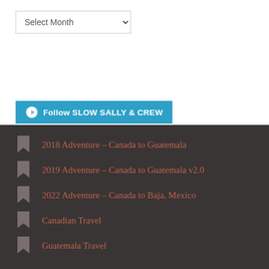[Figure (other): Dropdown select element showing 'Select Month']
[Figure (other): WordPress Follow button with cyan background reading 'Follow SLOW SALLY & CREW']
2018 Adventure – Canada to Guatemala
2019 Adventure – Canada to Guatemala v2.0
2022 Adventure – Canada to Baja, Mexico
Canadian Travel
Guatemala Travel